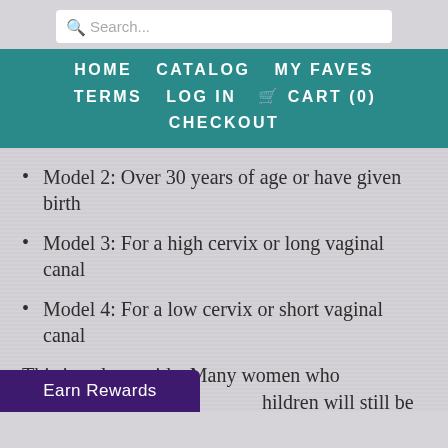Search...
HOME  CATALOG  MY FAVES  TERMS  LOG IN  CART (0)  CHECKOUT
Model 2: Over 30 years of age or have given birth
Model 3: For a high cervix or long vaginal canal
Model 4: For a low cervix or short vaginal canal
This is only a guide. Many women who [have had ch]ildren will still be able to [use a Model 1, and vice